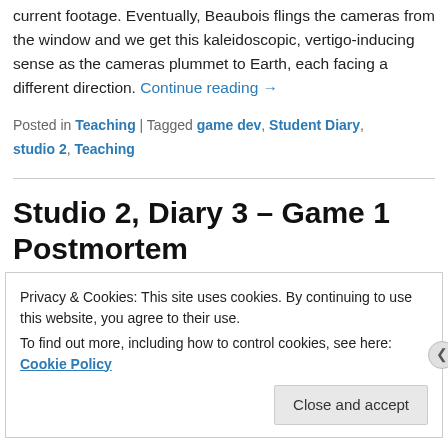current footage. Eventually, Beaubois flings the cameras from the window and we get this kaleidoscopic, vertigo-inducing sense as the cameras plummet to Earth, each facing a different direction. Continue reading →
Posted in Teaching | Tagged game dev, Student Diary, studio 2, Teaching
Studio 2, Diary 3 – Game 1 Postmortem
Posted on June 20, 2016
Privacy & Cookies: This site uses cookies. By continuing to use this website, you agree to their use.
To find out more, including how to control cookies, see here: Cookie Policy